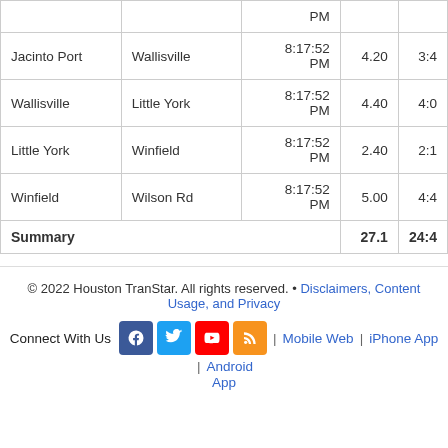| From | To | Last Updated | Miles | Time |
| --- | --- | --- | --- | --- |
|  |  | PM |  |  |
| Jacinto Port | Wallisville | 8:17:52 PM | 4.20 | 3:4 |
| Wallisville | Little York | 8:17:52 PM | 4.40 | 4:0 |
| Little York | Winfield | 8:17:52 PM | 2.40 | 2:1 |
| Winfield | Wilson Rd | 8:17:52 PM | 5.00 | 4:4 |
| Summary |  |  | 27.1 | 24:4 |
© 2022 Houston TranStar. All rights reserved. • Disclaimers, Content Usage, and Privacy
Connect With Us | Mobile Web | iPhone App | Android App